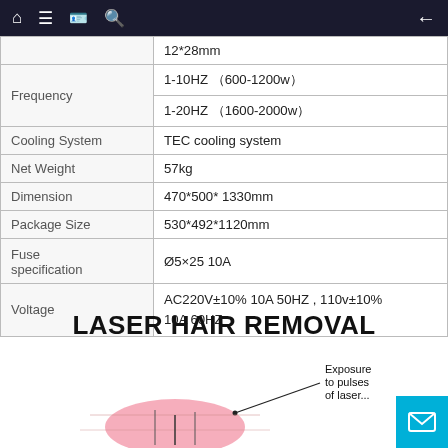Navigation bar with home, menu, card, search icons and back arrow
| Property | Value |
| --- | --- |
| [spot size] | 12*28mm |
| Frequency | 1-10HZ （600-1200w）
1-20HZ （1600-2000w） |
| Cooling System | TEC cooling system |
| Net Weight | 57kg |
| Dimension | 470*500* 1330mm |
| Package Size | 530*492*1120mm |
| Fuse specification | Ø5×25 10A |
| Voltage | AC220V±10% 10A 50HZ , 110v±10% 10A 60HZ |
LASER HAIR REMOVAL
[Figure (illustration): Laser hair removal diagram showing 'Exposure to pulses of laser...' label with arrow pointing to skin cross-section illustration with pink/red area indicating laser treatment]